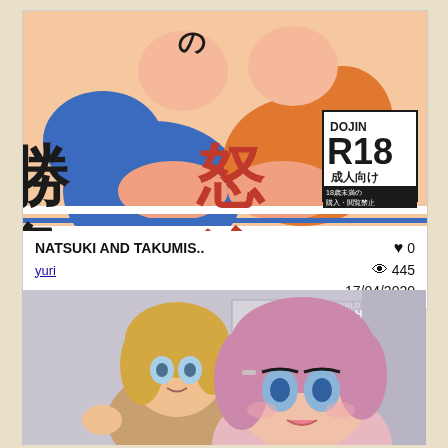[Figure (illustration): Anime/manga style illustration with Japanese text kanji characters showing 勝負 and 怒流, with DOJIN R18 成人向け badge. Two anime characters in sportswear.]
NATSUKI AND TAKUMIS..
♥ 0
yuri
👁 445
17/04/2020
[Figure (photo): 3D rendered image of two female characters, one blonde and one with pink/purple hair, labeled LEAH in top right corner.]